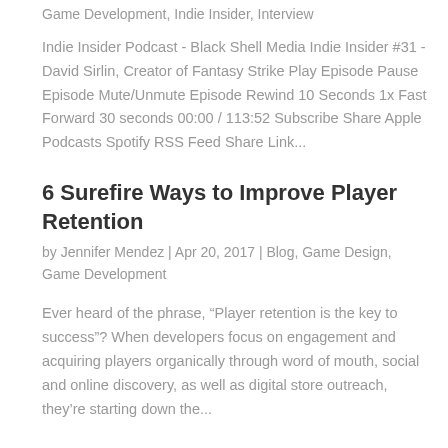Game Development, Indie Insider, Interview
Indie Insider Podcast - Black Shell Media Indie Insider #31 - David Sirlin, Creator of Fantasy Strike Play Episode Pause Episode Mute/Unmute Episode Rewind 10 Seconds 1x Fast Forward 30 seconds 00:00 / 113:52 Subscribe Share Apple Podcasts Spotify RSS Feed Share Link...
6 Surefire Ways to Improve Player Retention
by Jennifer Mendez | Apr 20, 2017 | Blog, Game Design, Game Development
Ever heard of the phrase, “Player retention is the key to success”? When developers focus on engagement and acquiring players organically through word of mouth, social and online discovery, as well as digital store outreach, they’re starting down the...